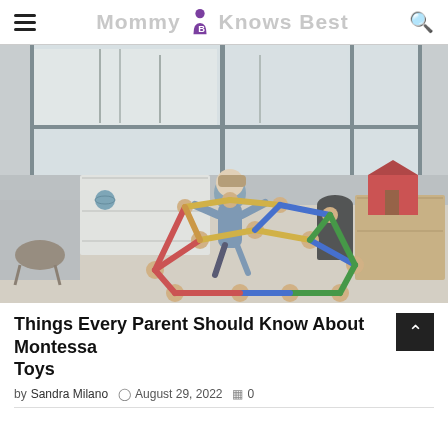Mommy Knows Best
[Figure (photo): A young child in a blue dress playing with a colorful wooden geometric climbing toy structure in a bright classroom/playroom setting with large windows, storage shelves, and various toys visible in the background.]
Things Every Parent Should Know About Montessori Toys
by Sandra Milano  © August 29, 2022  0